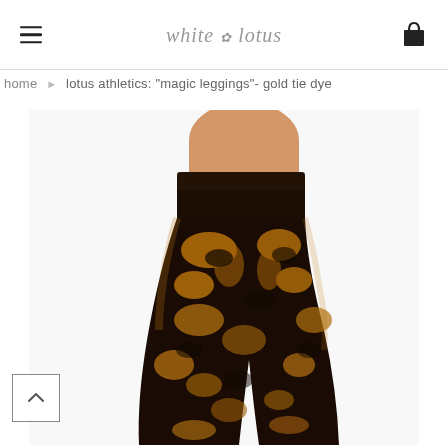white lotus (logo) — navigation header with hamburger menu and cart icon
home › lotus athletics: "magic leggings"- gold tie dye
[Figure (photo): A model wearing gold and black tie-dye high-waist leggings, photographed from the waist down on a white background. The leggings have a mottled gold and dark brown/black tie-dye pattern.]